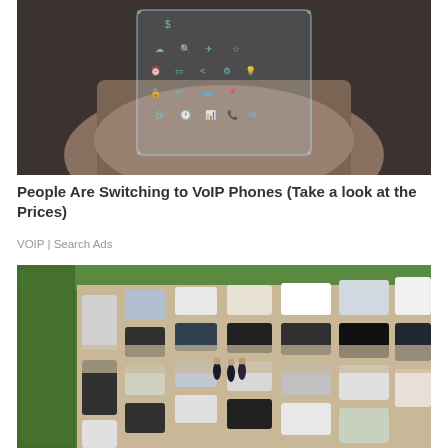[Figure (photo): Hand holding a transparent glass smartphone displaying various app icons including cloud, search, airplane, clock, settings, share, bar chart, lightbulb, lock, shopping cart, screen, location pin, at sign, time, analytics, phone, and email icons. Dark background.]
People Are Switching to VoIP Phones (Take a look at the Prices)
VOIP | Search Ads
[Figure (photo): Aerial view of a crowded parking lot with many cars, green trees along the left edge, and three people standing in the middle of the lot. Mix of white, black, and grey cars parked in rows.]